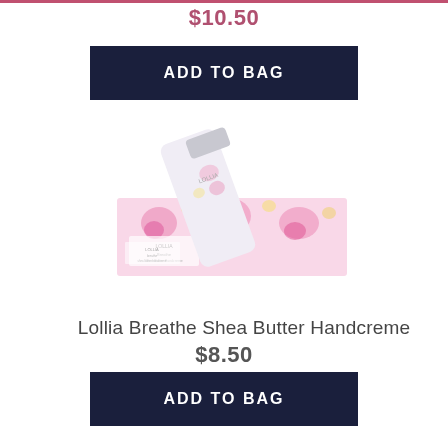$10.50
ADD TO BAG
[Figure (photo): Lollia Breathe Shea Butter Handcreme product photo showing a white floral-patterned tube of hand cream leaning against its matching floral gift box.]
Lollia Breathe Shea Butter Handcreme
$8.50
ADD TO BAG